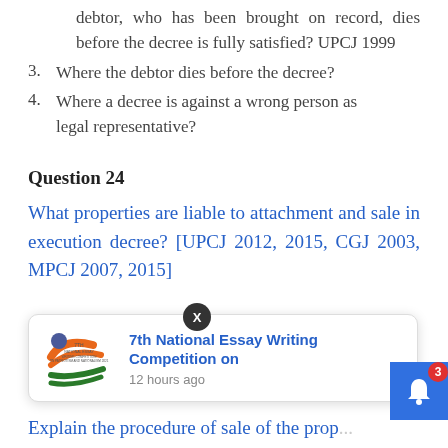debtor, who has been brought on record, dies before the decree is fully satisfied? UPCJ 1999
3. Where the debtor dies before the decree?
4. Where a decree is against a wrong person as legal representative?
Question 24
What properties are liable to attachment and sale in execution decree? [UPCJ 2012, 2015, CGJ 2003, MPCJ 2007, 2015]
[Figure (infographic): 7th National Essay Writing Competition on — notification popup with logo, blue text title, and timestamp '12 hours ago']
Explain the procedure of sale of the prop...